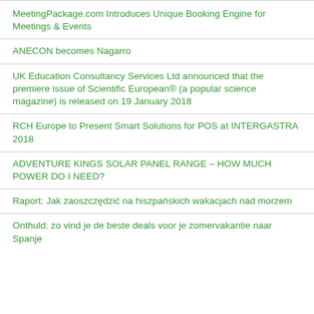MeetingPackage.com Introduces Unique Booking Engine for Meetings & Events
ANECON becomes Nagarro
UK Education Consultancy Services Ltd announced that the premiere issue of Scientific European® (a popular science magazine) is released on 19 January 2018
RCH Europe to Present Smart Solutions for POS at INTERGASTRA 2018
ADVENTURE KINGS SOLAR PANEL RANGE – HOW MUCH POWER DO I NEED?
Raport: Jak zaoszczędzić na hiszpańskich wakacjach nad morzem
Onthuld: zo vind je de beste deals voor je zomervakantie naar Spanje